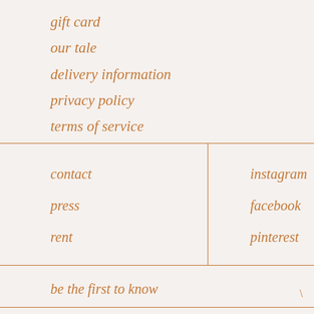gift card
our tale
delivery information
privacy policy
terms of service
contact
press
rent
instagram
facebook
pinterest
be the first to know
ing above €150 for benelux, germany and france    free